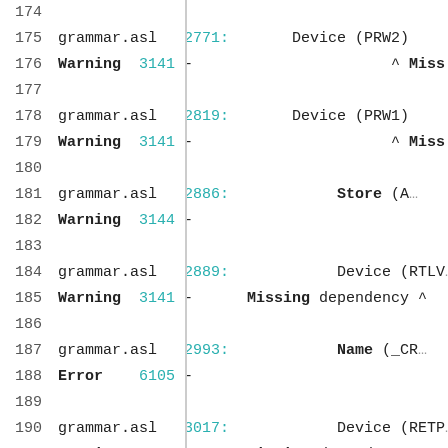174
175  grammar.asl  2771:      Device (PRW2)
176  Warning  3141  -                      ^ Miss:
177
178  grammar.asl  2819:      Device (PRW1)
179  Warning  3141  -                      ^ Miss:
180
181  grammar.asl  2886:             Store (A
182  Warning  3144  -
183
184  grammar.asl  2889:      Device (RTLV
185  Warning  3141  -     Missing dependency ^
186
187  grammar.asl  2993:             Name (_CR
188  Error   6105  -
189
190  grammar.asl  3017:      Device (RETP
191  Warning  3141  -     Missing dependency ^
192
193  grammar.asl  3053:      Device (WHLR)
194  Warning  3141  -                      ^ Miss:
195
196  grammar.asl  3109:      Device (ANDO)
197  Warning  3141  -                      ^ Miss:
198